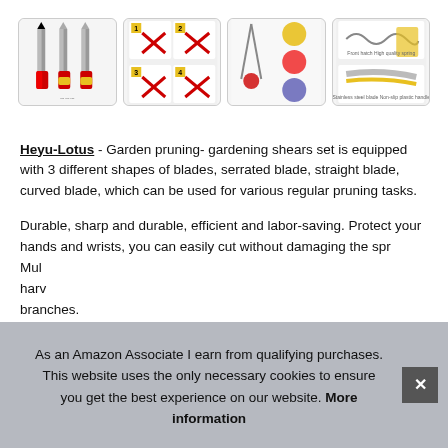[Figure (photo): Four product images of Heyu-Lotus garden pruning shears set showing different blade types and usage]
Heyu-Lotus - Garden pruning- gardening shears set is equipped with 3 different shapes of blades, serrated blade, straight blade, curved blade, which can be used for various regular pruning tasks.
Durable, sharp and durable, efficient and labor-saving. Protect your hands and wrists, you can easily cut without damaging the spring Multi- harv branches.
As an Amazon Associate I earn from qualifying purchases. This website uses the only necessary cookies to ensure you get the best experience on our website. More information